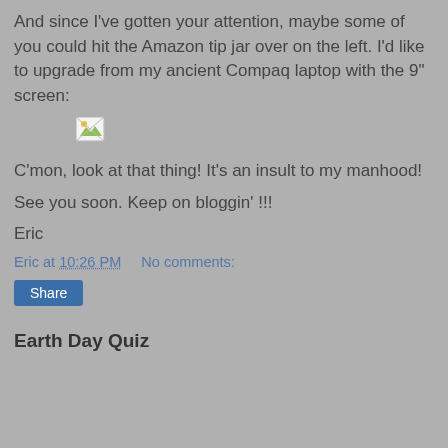And since I've gotten your attention, maybe some of you could hit the Amazon tip jar over on the left. I'd like to upgrade from my ancient Compaq laptop with the 9" screen:
[Figure (photo): Broken image placeholder icon (small thumbnail with mountain/landscape icon)]
C'mon, look at that thing! It's an insult to my manhood!
See you soon. Keep on bloggin' !!!
Eric
Eric at 10:26 PM    No comments:
Share
Earth Day Quiz